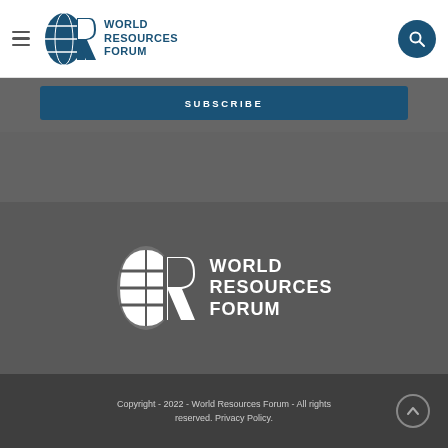World Resources Forum
[Figure (logo): World Resources Forum logo with globe-R icon in blue and text WORLD RESOURCES FORUM in header]
SUBSCRIBE
[Figure (logo): World Resources Forum logo in white on dark gray background: globe-R icon and WORLD RESOURCES FORUM text]
Copyright - 2022 - World Resources Forum - All rights reserved. Privacy Policy.